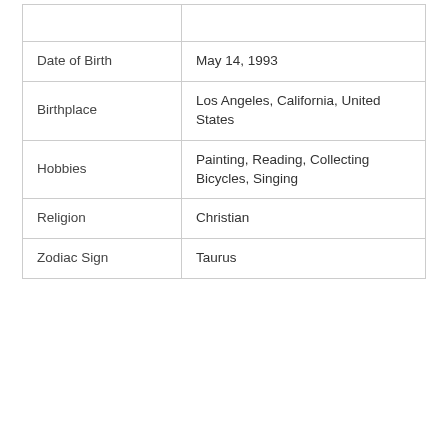|  |  |
| Date of Birth | May 14, 1993 |
| Birthplace | Los Angeles, California, United States |
| Hobbies | Painting, Reading, Collecting Bicycles, Singing |
| Religion | Christian |
| Zodiac Sign | Taurus |